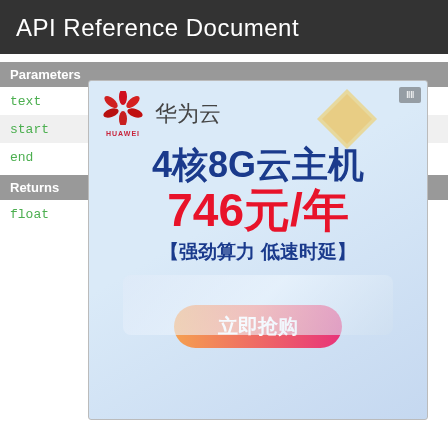API Reference Document
| Parameters |  |  |
| --- | --- | --- |
| text | S |  |
| start | i | easuring |
| end | i | o measure |
| Returns |  |  |
| --- | --- | --- |
| float | T |  |
[Figure (other): Huawei Cloud advertisement overlay showing 4-core 8G cloud server for 746 yuan/year with promotional button]
measureText
Added in API level 1
float measureText (String text)
Return the width of the text.